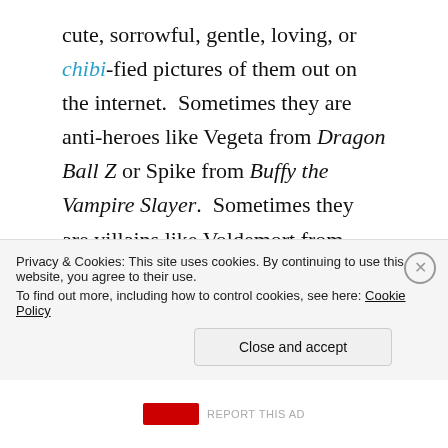cute, sorrowful, gentle, loving, or chibi-fied pictures of them out on the internet.  Sometimes they are anti-heroes like Vegeta from Dragon Ball Z or Spike from Buffy the Vampire Slayer.  Sometimes they are villains like Voldemort from Harry Potter or Loki from the Marvel Comics.  Sometimes they are someone who flickers in between like Mr. Gold from Once Upon a Time.  And sometimes they are like Alucard from the anime and manga Hellsing. Alucard is the opposite of cute.  He's one of, if not the most, badass, psychotic, murderous vampire in modern literature.  He's fucking
Privacy & Cookies: This site uses cookies. By continuing to use this website, you agree to their use.
To find out more, including how to control cookies, see here: Cookie Policy
Close and accept